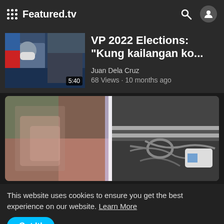Featured.tv
VP 2022 Elections: "Kung kailangan ko...
Juan Dela Cruz
68 Views · 10 months ago
[Figure (screenshot): Split video thumbnail showing blurred left side and equipment/wires on right side]
This website uses cookies to ensure you get the best experience on our website. Learn More
Got It!
Mag-ina, patay matapos makuryente habang naglalaba gamit ang